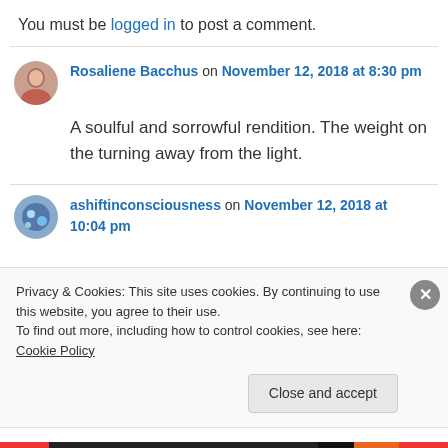You must be logged in to post a comment.
Rosaliene Bacchus on November 12, 2018 at 8:30 pm
A soulful and sorrowful rendition. The weight on the turning away from the light.
ashiftinconsciousness on November 12, 2018 at 10:04 pm
Privacy & Cookies: This site uses cookies. By continuing to use this website, you agree to their use. To find out more, including how to control cookies, see here: Cookie Policy
Close and accept